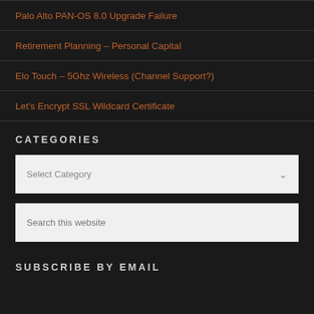Palo Alto PAN-OS 8.0 Upgrade Failure
Retirement Planning – Personal Capital
Elo Touch – 5Ghz Wireless (Channel Support?)
Let's Encrypt SSL Wildcard Certificate
CATEGORIES
Select Category (dropdown)
Search this website (search input)
SUBSCRIBE BY EMAIL